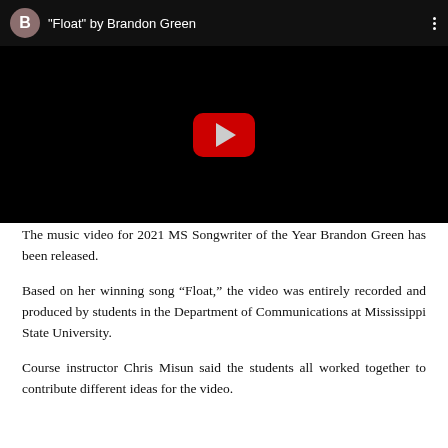[Figure (screenshot): YouTube video embed showing 'Float' by Brandon Green with a black video area, a red play button in the center, and a top bar with a brown avatar circle with letter B, the video title, and a three-dot menu icon.]
The music video for 2021 MS Songwriter of the Year Brandon Green has been released.
Based on her winning song “Float,” the video was entirely recorded and produced by students in the Department of Communications at Mississippi State University.
Course instructor Chris Misun said the students all worked together to contribute different ideas for the video.